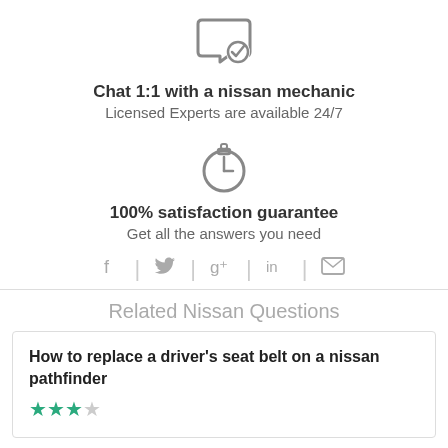[Figure (illustration): Chat bubble with checkmark icon (gray outline)]
Chat 1:1 with a nissan mechanic
Licensed Experts are available 24/7
[Figure (illustration): Stopwatch/timer icon (gray outline)]
100% satisfaction guarantee
Get all the answers you need
[Figure (infographic): Social sharing icons: Facebook, Twitter, Google+, LinkedIn, Email separated by vertical lines]
Related Nissan Questions
How to replace a driver's seat belt on a nissan pathfinder
[Figure (other): 3 filled green stars and 1 empty star rating (3 out of 4 shown)]